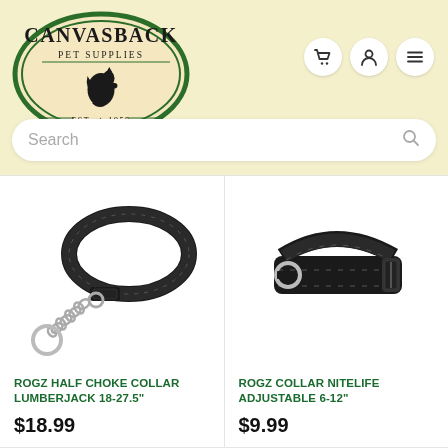[Figure (logo): Canvasback Pet Supplies logo — oval with green border, horse head silhouette, text 'CANVASBACK PET SUPPLIES EST. 1958']
Search
[Figure (photo): Rogz Half Choke Collar Lumberjack 18-27.5" — black nylon collar with chain section and ring]
ROGZ HALF CHOKE COLLAR LUMBERJACK 18-27.5"
$18.99
[Figure (photo): Rogz Collar Nitelife Adjustable 6-12" — black nylon adjustable collar with silver D-ring and buckle]
ROGZ COLLAR NITELIFE ADJUSTABLE 6-12"
$9.99